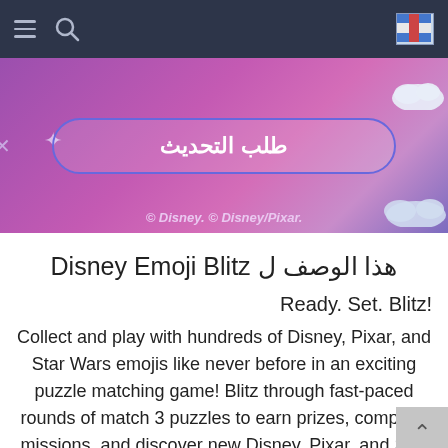Navigation bar with hamburger menu, search icon, and flag icon
[Figure (screenshot): App store banner with purple/pink gradient background, showing Arabic text 'طلب التحديث' in a rounded search box, sparkle star decoration, cloud decorations, and copyright text '© Disney. © Disney/Pixar.']
هذا الوصف ل Disney Emoji Blitz
Ready. Set. Blitz!
Collect and play with hundreds of Disney, Pixar, and Star Wars emojis like never before in an exciting puzzle matching game! Blitz through fast-paced rounds of match 3 puzzles to earn prizes, complete missions, and discover new Disney, Pixar, and Star